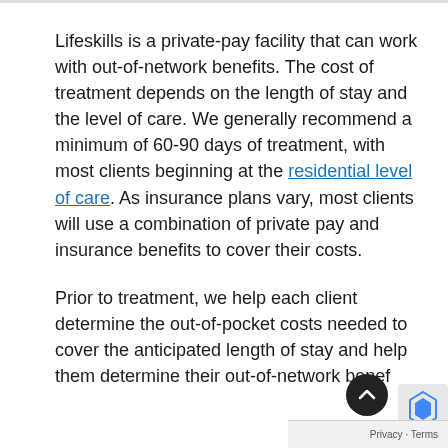Lifeskills is a private-pay facility that can work with out-of-network benefits. The cost of treatment depends on the length of stay and the level of care. We generally recommend a minimum of 60-90 days of treatment, with most clients beginning at the residential level of care. As insurance plans vary, most clients will use a combination of private pay and insurance benefits to cover their costs.
Prior to treatment, we help each client determine the out-of-pocket costs needed to cover the anticipated length of stay and help them determine their out-of-network benef...
Privacy · Terms